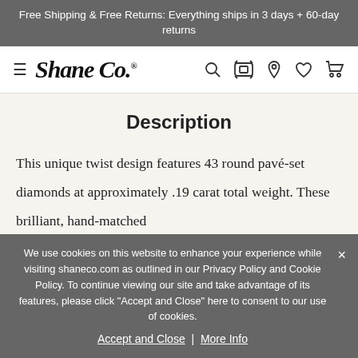Free Shipping & Free Returns: Everything ships in 3 days + 60-day returns
[Figure (logo): Shane Co. logo with hamburger menu and navigation icons (search, camera, location, heart, cart)]
Description
This unique twist design features 43 round pavé-set diamonds at approximately .19 carat total weight. These brilliant, hand-matched
We use cookies on this website to enhance your experience while visiting shaneco.com as outlined in our Privacy Policy and Cookie Policy. To continue viewing our site and take advantage of its features, please click "Accept and Close" here to consent to our use of cookies.
Accept and Close | More Info